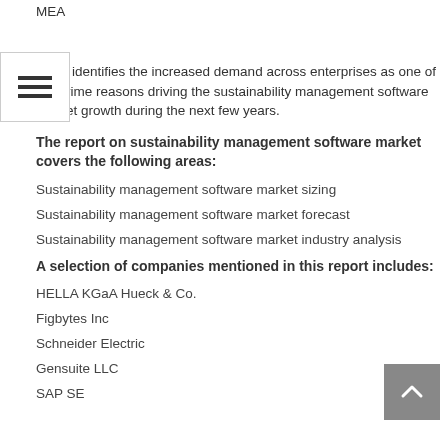MEA
study identifies the increased demand across enterprises as one of the prime reasons driving the sustainability management software market growth during the next few years.
The report on sustainability management software market covers the following areas:
Sustainability management software market sizing
Sustainability management software market forecast
Sustainability management software market industry analysis
A selection of companies mentioned in this report includes:
HELLA KGaA Hueck & Co.
Figbytes Inc
Schneider Electric
Gensuite LLC
SAP SE